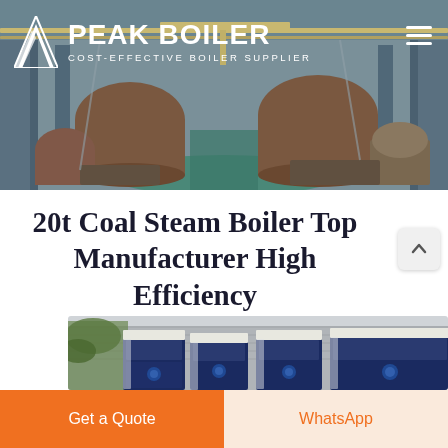[Figure (photo): Aerial view of a large industrial boiler manufacturing facility/warehouse with overhead cranes and large boiler vessels on the factory floor]
20t Coal Steam Boiler Top Manufacturer High Efficiency
[Figure (photo): Row of modern blue-and-white industrial boilers with vegetation in background against a grey brick wall]
Get a Quote
WhatsApp